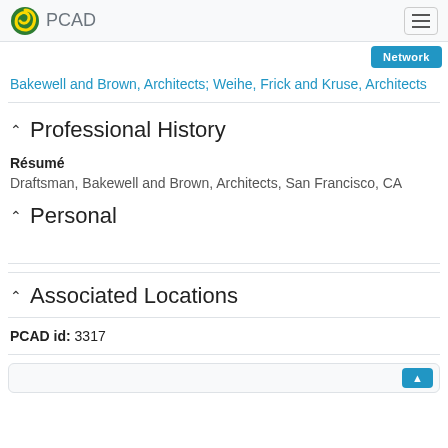PCAD
Bakewell and Brown, Architects; Weihe, Frick and Kruse, Architects
Professional History
Résumé
Draftsman, Bakewell and Brown, Architects, San Francisco, CA
Personal
Associated Locations
PCAD id: 3317